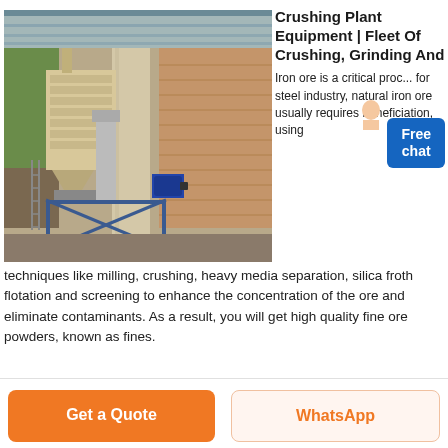[Figure (photo): Industrial crushing plant equipment inside a covered facility, showing large cream/beige machinery with vertical columns, a blue electric motor, and metal framework, with a corrugated roof and brick wall in the background.]
Crushing Plant Equipment | Fleet Of Crushing, Grinding And
Iron ore is a critical process for steel industry, natural iron ore usually requires beneficiation, using techniques like milling, crushing, heavy media separation, silica froth flotation and screening to enhance the concentration of the ore and eliminate contaminants. As a result, you will get high quality fine ore powders, known as fines.
Get a Quote
WhatsApp